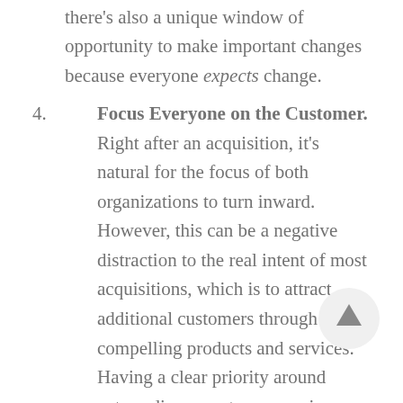everyone settles in. In an acquisition, there's also a unique window of opportunity to make important changes because everyone expects change.
4. Focus Everyone on the Customer. Right after an acquisition, it's natural for the focus of both organizations to turn inward. However, this can be a negative distraction to the real intent of most acquisitions, which is to attract additional customers through more compelling products and services. Having a clear priority around extraordinary customer service can become a rallying point for the new team and a cultural touchstone of the new organization.